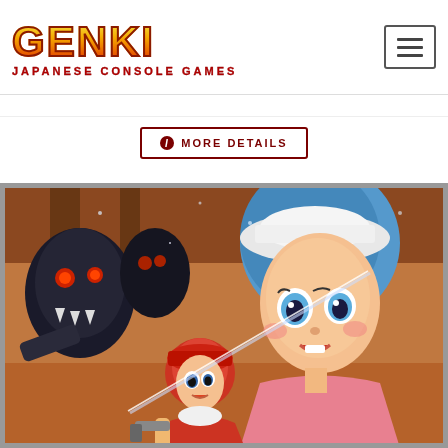[Figure (logo): Genki Japanese Console Games logo with stylized text in orange/yellow gradient with red outline, subtitle in red capital letters]
MORE DETAILS
[Figure (photo): Anime/manga style cover art showing characters in action - a blue-haired girl in white cap, a boy in red outfit, and dark monster/robot enemies in background against a sci-fi industrial setting]